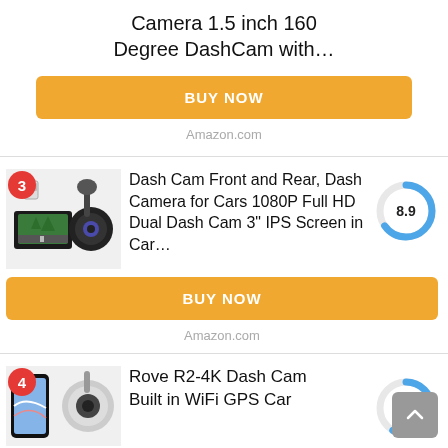Camera 1.5 inch 160 Degree DashCam with…
BUY NOW
Amazon.com
Dash Cam Front and Rear, Dash Camera for Cars 1080P Full HD Dual Dash Cam 3" IPS Screen in Car…
[Figure (donut-chart): Score]
BUY NOW
Amazon.com
Rove R2-4K Dash Cam Built in WiFi GPS Car
[Figure (donut-chart): Score]